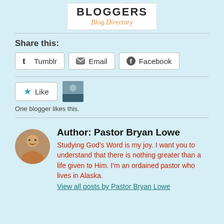[Figure (logo): Bloggers Blog Directory logo — bold text 'BLOGGERS' above italic orange cursive 'Blog Directory' on white background with border]
Share this:
Tumblr  Email  Facebook
Like
One blogger likes this.
Author: Pastor Bryan Lowe
Studying God's Word is my joy. I want you to understand that there is nothing greater than a life given to Him. I'm an ordained pastor who lives in Alaska.
View all posts by Pastor Bryan Lowe